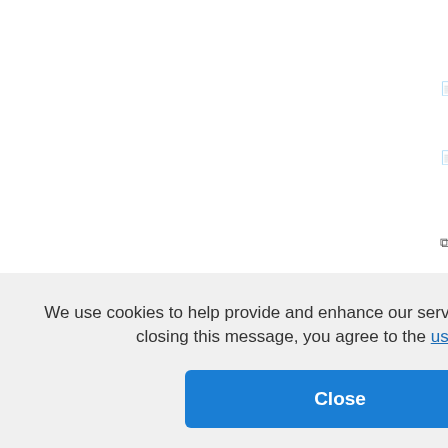Qualitative Study, [truncated]
PDF  Transitioning home [truncated]
PDF  Are you a caregive[truncated]
Deb Dowd-Foley, G[truncated]
Link  Development and [truncated] Type 1 Diabetes an[truncated]
Kimberly Johnson
Link  Using a Nursing Sal[truncated]
[Sullivan-Bolyai, [truncated]
tello
e of Story-Ba[truncated]
tion of prim[truncated]
man and Jil[truncated]
We use cookies to help provide and enhance our service and tailor content. By closing this message, you agree to the use of cookies.
Close
Publications from 2019